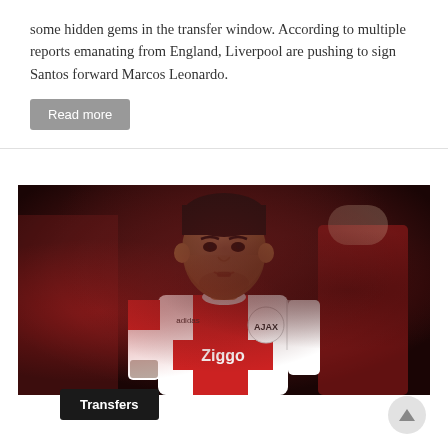some hidden gems in the transfer window. According to multiple reports emanating from England, Liverpool are pushing to sign Santos forward Marcos Leonardo.
Read more
[Figure (photo): A soccer player wearing an Ajax jersey (red and white, with Ziggo sponsor and Curacao text) standing on the pitch, cropped portrait style with a blurred stadium crowd in the background.]
Transfers